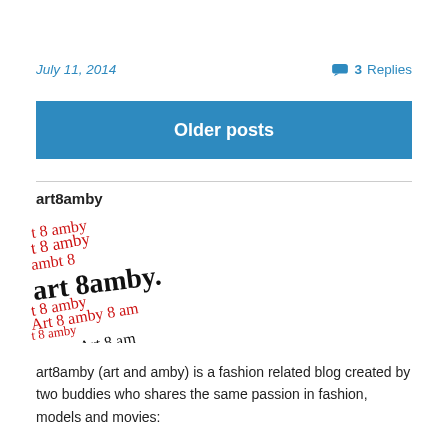July 11, 2014
3 Replies
Older posts
art8amby
[Figure (logo): art8amby handwritten signature logo in red and black ink, repeated multiple times in overlapping cursive script]
art8amby (art and amby) is a fashion related blog created by two buddies who shares the same passion in fashion, models and movies: